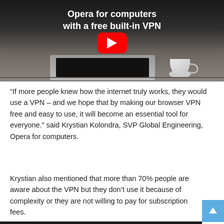[Figure (screenshot): YouTube video thumbnail showing a laptop on a desk with a coffee cup, with text 'Opera for computers with a free built-in VPN' and a YouTube play button overlay]
“If more people knew how the internet truly works, they would use a VPN – and we hope that by making our browser VPN free and easy to use, it will become an essential tool for everyone.” said Krystian Kolondra, SVP Global Engineering, Opera for computers.
Krystian also mentioned that more than 70% people are aware about the VPN but they don’t use it because of complexity or they are not willing to pay for subscription fees.